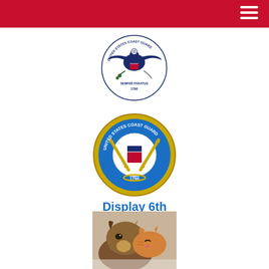[Figure (logo): United States Coast Guard seal - eagle emblem with SEMPER PARATUS 1790 text, navy blue]
[Figure (logo): United States Coast Guard coin/medallion - circular blue seal with crossed anchors and USCG shield, gold rope border, 1790]
Display 6th
[Figure (photo): Photo of a German Shepherd dog and an orange tabby cat together, close-up]